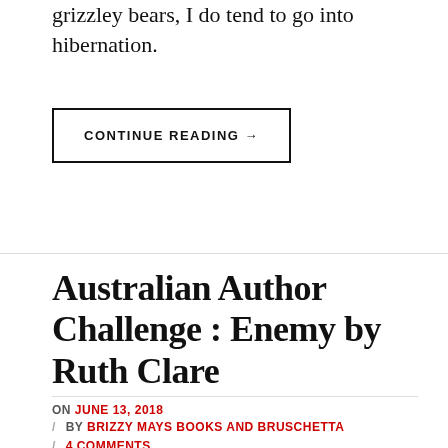grizzley bears, I do tend to go into hibernation.
CONTINUE READING →
Australian Author Challenge : Enemy by Ruth Clare
ON JUNE 13, 2018 / BY BRIZZY MAYS BOOKS AND BRUSCHETTA / 4 COMMENTS